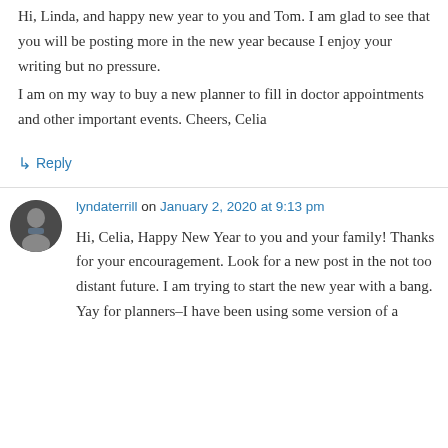Hi, Linda, and happy new year to you and Tom. I am glad to see that you will be posting more in the new year because I enjoy your writing but no pressure.
I am on my way to buy a new planner to fill in doctor appointments and other important events. Cheers, Celia
↳ Reply
lyndaterrill on January 2, 2020 at 9:13 pm
Hi, Celia, Happy New Year to you and your family! Thanks for your encouragement. Look for a new post in the not too distant future. I am trying to start the new year with a bang. Yay for planners–I have been using some version of a